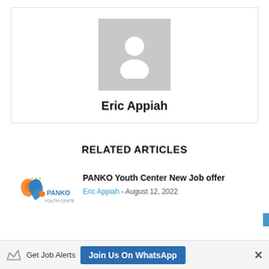[Figure (photo): Default avatar placeholder — grey square with white silhouette of a person (head and shoulders)]
Eric Appiah
RELATED ARTICLES
[Figure (logo): PANKO Youth Center logo — orange figure with blue text reading PANKO YOUTH CENTE and gold stars above]
PANKO Youth Center New Job offer
Eric Appiah - August 12, 2022
Get Job Alerts Join Us On WhatsApp ×